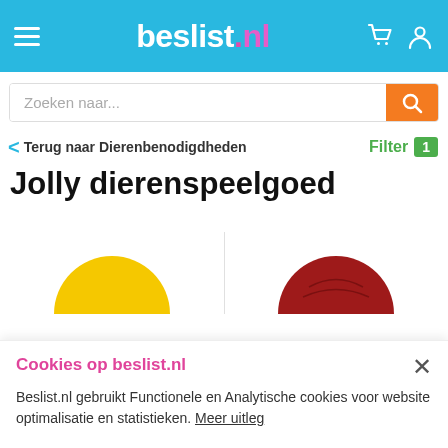beslist.nl
Zoeken naar...
< Terug naar Dierenbenodigdheden   Filter 1
Jolly dierenspeelgoed
[Figure (photo): Two round pet toy balls - yellow on the left and red/dark red on the right, partially visible at the bottom of the page]
Cookies op beslist.nl
Beslist.nl gebruikt Functionele en Analytische cookies voor website optimalisatie en statistieken. Meer uitleg